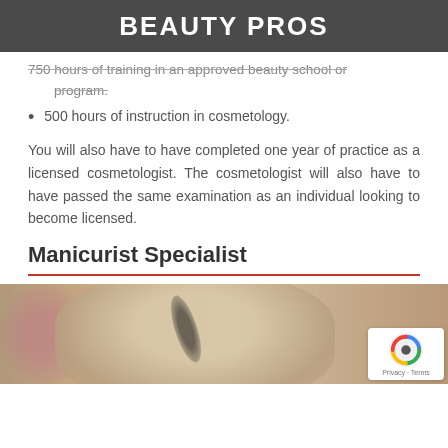BEAUTY PROS
750 hours of training in an approved beauty school or program.
500 hours of instruction in cosmetology.
You will also have to have completed one year of practice as a licensed cosmetologist. The cosmetologist will also have to have passed the same examination as an individual looking to become licensed.
Manicurist Specialist
[Figure (photo): A blurred close-up photo of a woman's face, likely a beauty professional or model, with soft bokeh background.]